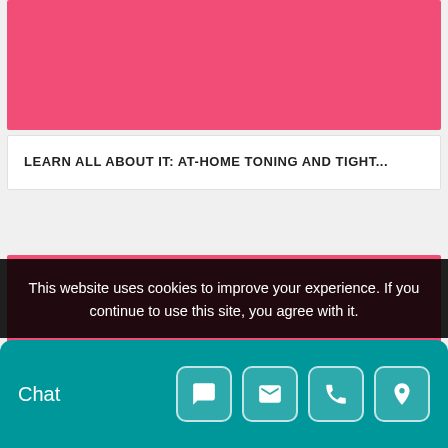[Figure (photo): Pink/salmon colored image block at top of page]
LEARN ALL ABOUT IT: AT-HOME TONING AND TIGHT...
[Figure (photo): Pink/salmon colored image block in middle of page]
This website uses cookies to improve your experience. If you continue to use this site, you agree with it.
Chat